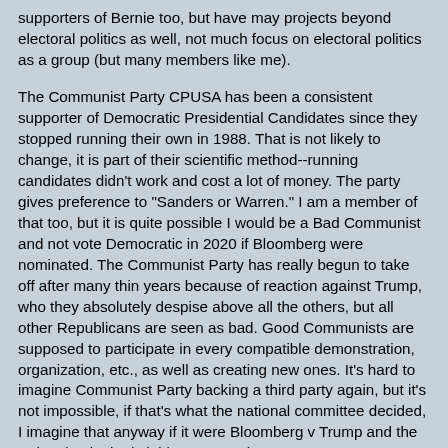supporters of Bernie too, but have may projects beyond electoral politics as well, not much focus on electoral politics as a group (but many members like me).
The Communist Party CPUSA has been a consistent supporter of Democratic Presidential Candidates since they stopped running their own in 1988. That is not likely to change, it is part of their scientific method--running candidates didn't work and cost a lot of money. The party gives preference to "Sanders or Warren." I am a member of that too, but it is quite possible I would be a Bad Communist and not vote Democratic in 2020 if Bloomberg were nominated. The Communist Party has really begun to take off after many thin years because of reaction against Trump, who they absolutely despise above all the others, but all other Republicans are seen as bad. Good Communists are supposed to participate in every compatible demonstration, organization, etc., as well as creating new ones. It's hard to imagine Communist Party backing a third party again, but it's not impossible, if that's what the national committee decided, I imagine that anyway if it were Bloomberg v Trump and the 3rd option looked viable, not merely "protest."
There is a Medicare-for-All movement long led by Nurses which supports Bernie. And endless other movements. Most of the "organized" left supports Bernie, even a lot of Anarchists. Nobody else is a movement person at all, just a made-for-TV fake.